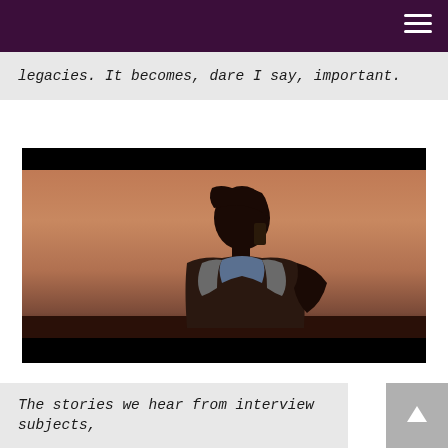legacies. It becomes, dare I say, important.
[Figure (photo): A man photographed in profile outdoors at sunset or dusk, wearing a light-colored shirt or vest, with warm reddish-brown tones in the background sky.]
The stories we hear from interview subjects,